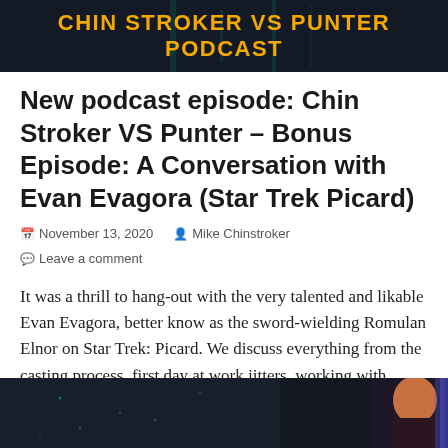[Figure (other): Dark banner with teal/dark background showing podcast logo text 'CHIN STROKER VS PUNTER PODCAST' in bold yellow/orange uppercase letters]
New podcast episode: Chin Stroker VS Punter – Bonus Episode: A Conversation with Evan Evagora (Star Trek Picard)
November 13, 2020   Mike Chinstroker   Leave a comment
It was a thrill to hang-out with the very talented and likable Evan Evagora, better know as the sword-wielding Romulan Elnor on Star Trek: Picard. We discuss everything from the casting process, first day at work jitters, working with Jonathan Frakes and Jeri Ryan, to
[Figure (photo): Dark background banner image at bottom of page with a person visible on the right side]